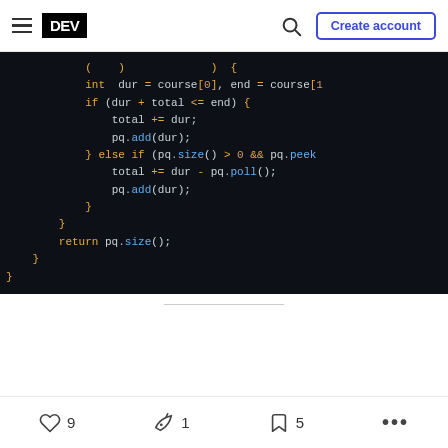DEV — Create account (navigation bar)
[Figure (screenshot): Code block showing Java code snippet on dark background (#0d1117). Code includes: int dur = course[0], end = course[1]; if (dur + total <= end) { total += dur; pq.add(dur); } else if (pq.size() > 0 && pq.peek... total += dur - pq.poll(); pq.add(dur); } } return pq.size(); } }]
9 likes, 1 unicorn, 5 bookmarks, more options